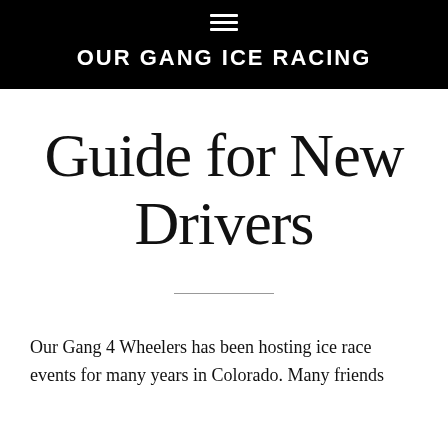OUR GANG ICE RACING
Guide for New Drivers
Our Gang 4 Wheelers has been hosting ice race events for many years in Colorado. Many friends